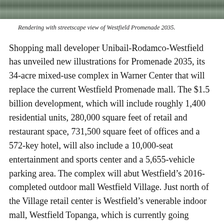[Figure (photo): Rendering with streetscape view of Westfield Promenade 2035, showing a wide architectural rendering of the mixed-use complex from street level.]
Rendering with streetscape view of Westfield Promenade 2035.
Shopping mall developer Unibail-Rodamco-Westfield has unveiled new illustrations for Promenade 2035, its 34-acre mixed-use complex in Warner Center that will replace the current Westfield Promenade mall. The $1.5 billion development, which will include roughly 1,400 residential units, 280,000 square feet of retail and restaurant space, 731,500 square feet of offices and a 572-key hotel, will also include a 10,000-seat entertainment and sports center and a 5,655-vehicle parking area. The complex will abut Westfield’s 2016-completed outdoor mall Westfield Village. Just north of the Village retail center is Westfield’s venerable indoor mall, Westfield Topanga, which is currently going through a $250 million renovation. Different components of the Westfield Promenade 2035 project — which has gone through its share of revisions and